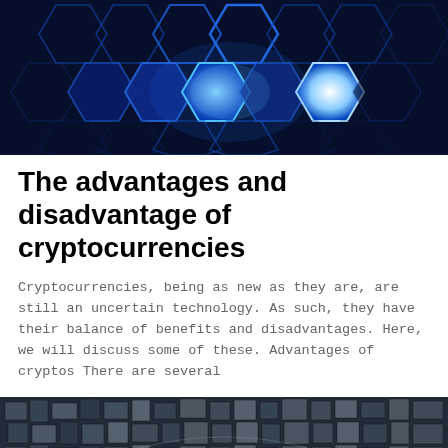[Figure (photo): Dark blue hexagonal honeycomb pattern with glowing blue/white light accents, technology theme]
The advantages and disadvantage of cryptocurrencies
Cryptocurrencies, being as new as they are, are still an uncertain technology. As such, they have their balance of benefits and disadvantages. Here, we will discuss some of these. Advantages of cryptos There are several
[Figure (photo): Dark mosaic or tiled pattern with metallic grey/blue square tiles arranged in a curved pattern]